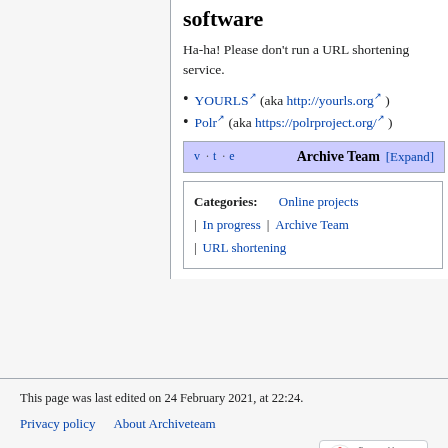software
Ha-ha! Please don't run a URL shortening service.
YOURLS (aka http://yourls.org )
Polr (aka https://polrproject.org/ )
| v · t · e | Archive Team | [Expand] |
| Categories: Online projects | In progress | Archive Team | URL shortening |
This page was last edited on 24 February 2021, at 22:24.
Privacy policy   About Archiveteam
Disclaimers